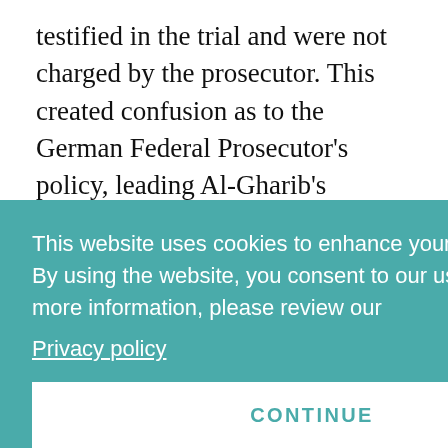testified in the trial and were not charged by the prosecutor. This created confusion as to the German Federal Prosecutor's policy, leading Al-Gharib's counsel to question what criteria were used to open criminal proceedings in Germany. It also contributed to the reticence of insider
This website uses cookies to enhance your user experience. By using the website, you consent to our use of cookies. For more information, please review our Privacy policy CONTINUE
the last 10 years and chart a path forward that